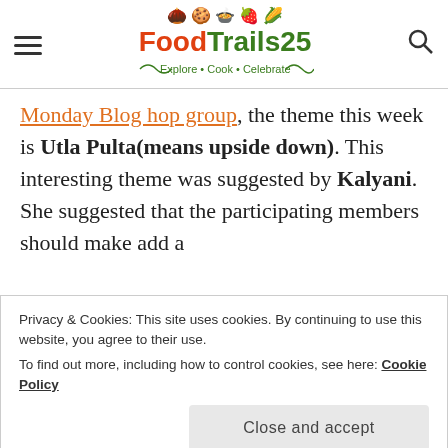FoodTrails25 - Explore • Cook • Celebrate
Monday Blog hop group, the theme this week is Utla Pulta(means upside down). This interesting theme was suggested by Kalyani. She suggested that the participating members should make add a
Privacy & Cookies: This site uses cookies. By continuing to use this website, you agree to their use. To find out more, including how to control cookies, see here: Cookie Policy  Close and accept
send quite a few muffin recipes for the group post earlier too. Then, nut trail mix with honey and